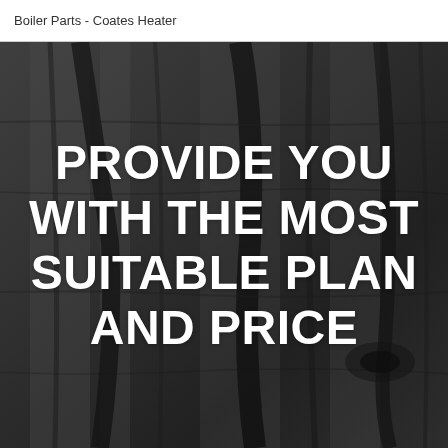Boiler Parts - Coates Heater
[Figure (photo): Dark textured wood grain or charred bark background, dark gray and black tones with natural wood grain patterns and cracks running diagonally.]
PROVIDE YOU WITH THE MOST SUITABLE PLAN AND PRICE